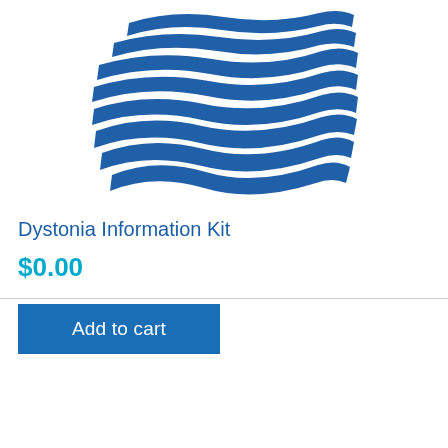[Figure (logo): Dystonia organization logo: blue wavy horizontal stripes forming an abstract wave/flag design on white background]
Dystonia Information Kit
$0.00
Add to cart